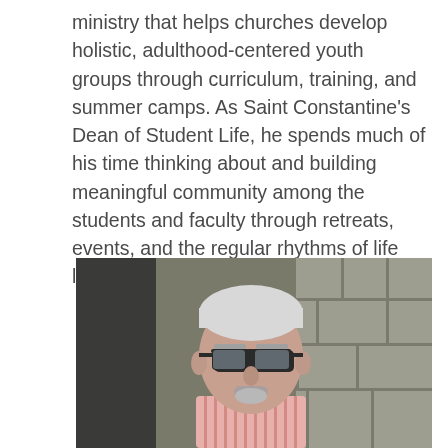ministry that helps churches develop holistic, adulthood-centered youth groups through curriculum, training, and summer camps. As Saint Constantine's Dean of Student Life, he spends much of his time thinking about and building meaningful community among the students and faculty through retreats, events, and the regular rhythms of life lived together.
[Figure (photo): Portrait photo of an older man with white/gray hair, wearing black-framed glasses and a pink/white striped shirt, standing in front of a stone wall background.]